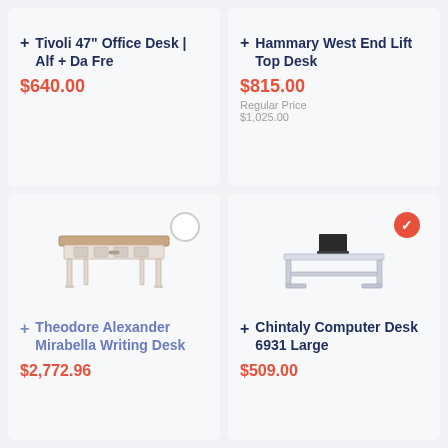Tivoli 47" Office Desk | Alf + Da Fre
$640.00
Hammary West End Lift Top Desk
$815.00
Regular Price $1,025.00
[Figure (photo): White ornate writing desk with decorative carved legs and brown top surface]
Theodore Alexander Mirabella Writing Desk
$2,772.96
[Figure (photo): Modern silver/chrome computer desk with glass or metal top surface and laptop on top]
Chintaly Computer Desk 6931 Large
$509.00